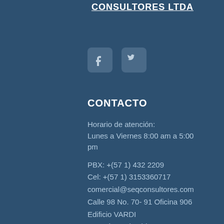CONSULTORES LTDA
[Figure (illustration): Facebook and Twitter social media icons in rounded square boxes]
CONTACTO
Horario de atención:
Lunes a Viernes 8:00 am a 5:00 pm
PBX: +(57 1) 432 2209
Cel: +(57 1) 3153360717
comercial@seqconsultores.com
Calle 98 No. 70- 91 Oficina 906
Edificio VARDI
Bogotá – Colombia